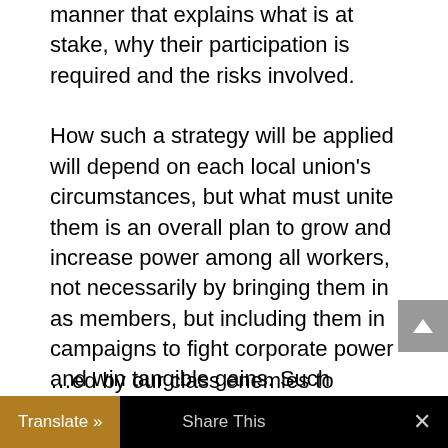manner that explains what is at stake, why their participation is required and the risks involved.

How such a strategy will be applied will depend on each local union's circumstances, but what must unite them is an overall plan to grow and increase power among all workers, not necessarily by bringing them in as members, but including them in campaigns to fight corporate power and win tangible gains. Such campaigns must use the tactics of civil disobedience and non-cooperation with a system whose rules and structure …ed by our class enemies to …
Translate »    Share This    ×